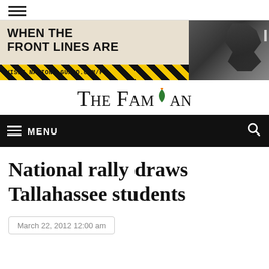≡ (hamburger menu icon)
[Figure (photo): National Guard advertisement banner showing bold text 'WHEN THE FRONT LINES ARE' with yellow and black diagonal stripe and URL 'VISIT NATIONALGUARD.COM/FL', alongside a black and white photo of a soldier]
THE FAMUAN (newspaper masthead logo)
≡ MENU (navigation bar with search icon)
National rally draws Tallahassee students
March 22, 2012 12:00 am